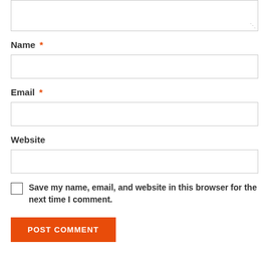[Comment textarea]
Name *
[Name input field]
Email *
[Email input field]
Website
[Website input field]
Save my name, email, and website in this browser for the next time I comment.
POST COMMENT